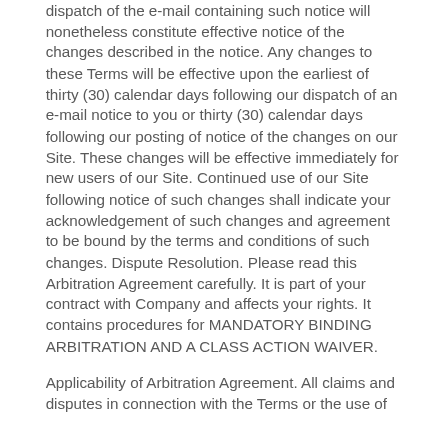dispatch of the e-mail containing such notice will nonetheless constitute effective notice of the changes described in the notice. Any changes to these Terms will be effective upon the earliest of thirty (30) calendar days following our dispatch of an e-mail notice to you or thirty (30) calendar days following our posting of notice of the changes on our Site. These changes will be effective immediately for new users of our Site. Continued use of our Site following notice of such changes shall indicate your acknowledgement of such changes and agreement to be bound by the terms and conditions of such changes. Dispute Resolution. Please read this Arbitration Agreement carefully. It is part of your contract with Company and affects your rights. It contains procedures for MANDATORY BINDING ARBITRATION AND A CLASS ACTION WAIVER.
Applicability of Arbitration Agreement. All claims and disputes in connection with the Terms or the use of